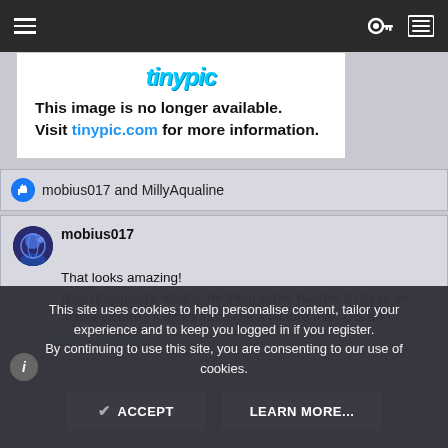Navigation bar with hamburger menu and icons
[Figure (screenshot): Tinypic image placeholder showing logo and 'This image is no longer available. Visit tinypic.com for more information.']
mobius017 and MillyAqualine
mobius017
That looks amazing!
(Out of curiosity, what's the thing in her hand/is it CG or an actual picture? It looks more like a picture than CG art.)
Nov 27, 2018
This site uses cookies to help personalise content, tailor your experience and to keep you logged in if you register.
By continuing to use this site, you are consenting to our use of cookies.